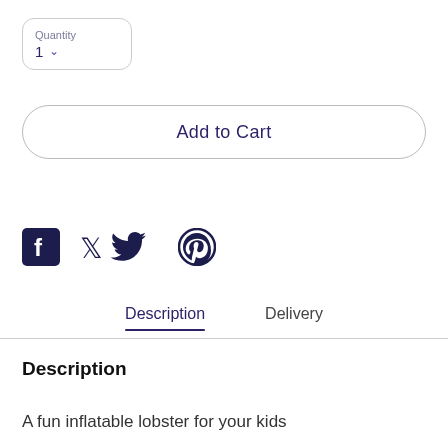Quantity 1
Add to Cart
[Figure (illustration): Social share icons: Facebook, Twitter, Pinterest]
Description | Delivery
Description
A fun inflatable lobster for your kids